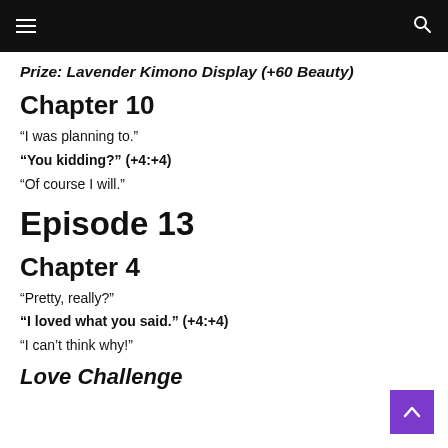≡  🔍
Prize: Lavender Kimono Display (+60 Beauty)
Chapter 10
“I was planning to.”
“You kidding?” (+4:+4)
“Of course I will.”
Episode 13
Chapter 4
“Pretty, really?”
“I loved what you said.” (+4:+4)
“I can’t think why!”
Love Challenge